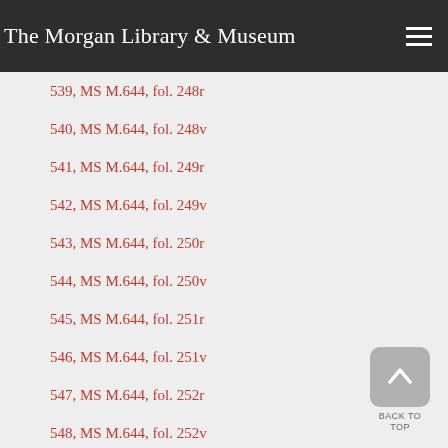The Morgan Library & Museum
539, MS M.644, fol. 248r
540, MS M.644, fol. 248v
541, MS M.644, fol. 249r
542, MS M.644, fol. 249v
543, MS M.644, fol. 250r
544, MS M.644, fol. 250v
545, MS M.644, fol. 251r
546, MS M.644, fol. 251v
547, MS M.644, fol. 252r
548, MS M.644, fol. 252v